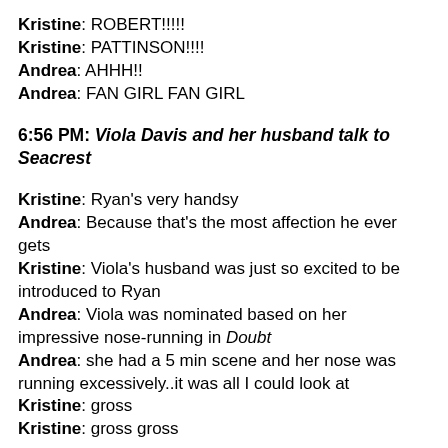Kristine: ROBERT!!!!!
Kristine: PATTINSON!!!!
Andrea: AHHH!!
Andrea: FAN GIRL FAN GIRL
6:56 PM: Viola Davis and her husband talk to Seacrest
Kristine: Ryan's very handsy
Andrea: Because that's the most affection he ever gets
Kristine: Viola's husband was just so excited to be introduced to Ryan
Andrea: Viola was nominated based on her impressive nose-running in Doubt
Andrea: she had a 5 min scene and her nose was running excessively..it was all I could look at
Kristine: gross
Kristine: gross gross
7:01 PM: We see a shot of 1993's Best Supporting Actress